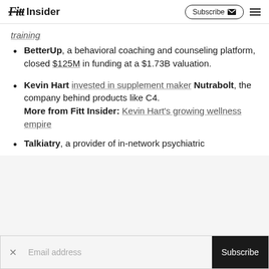Fitt Insider
training
BetterUp, a behavioral coaching and counseling platform, closed $125M in funding at a $1.73B valuation.
Kevin Hart invested in supplement maker Nutrabolt, the company behind products like C4. More from Fitt Insider: Kevin Hart's growing wellness empire
Talkiatry, a provider of in-network psychiatric